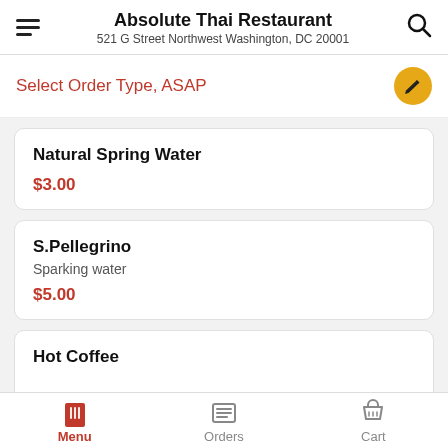Absolute Thai Restaurant
521 G Street Northwest Washington, DC 20001
Select Order Type, ASAP
Natural Spring Water
$3.00
S.Pellegrino
Sparking water
$5.00
Hot Coffee
Menu  Orders  Cart